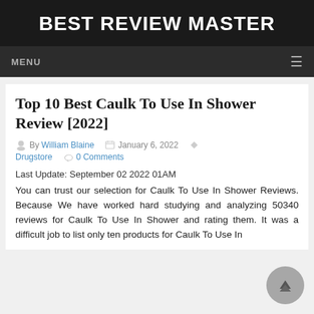BEST REVIEW MASTER
MENU
Top 10 Best Caulk To Use In Shower Review [2022]
By William Blaine   January 6, 2022   Drugstore   0 Comments
Last Update: September 02 2022 01AM
You can trust our selection for Caulk To Use In Shower Reviews. Because We have worked hard studying and analyzing 50340 reviews for Caulk To Use In Shower and rating them. It was a difficult job to list only ten products for Caulk To Use In